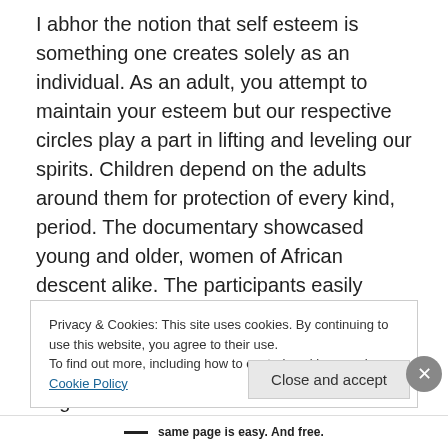I abhor the notion that self esteem is something one creates solely as an individual.  As an adult, you attempt to maintain your esteem but our respective circles play a part in lifting and leveling our spirits.  Children depend on the adults around them for protection of every kind, period.  The documentary showcased young and older, women of African descent alike.  The participants easily could have been elementary girls; which is to say we are failing.  Learning has become so orthodox that we have forgotten love is a lesson—love must be taught.  Love can be taught.
Privacy & Cookies: This site uses cookies. By continuing to use this website, you agree to their use.
To find out more, including how to control cookies, see here: Cookie Policy
Close and accept
same page is easy. And free.